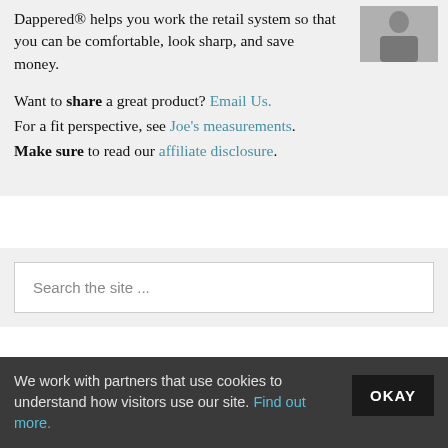Dappered® helps you work the retail system so that you can be comfortable, look sharp, and save money.
Want to share a great product? Email Us.
For a fit perspective, see Joe's measurements.
Make sure to read our affiliate disclosure.
[Figure (photo): Photo of a man in a suit sitting with hands clasped]
Search the site ...
We work with partners that use cookies to understand how visitors use our site. Find out more.